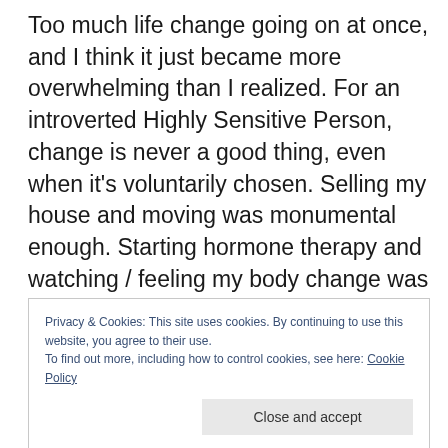Too much life change going on at once, and I think it just became more overwhelming than I realized. For an introverted Highly Sensitive Person, change is never a good thing, even when it's voluntarily chosen. Selling my house and moving was monumental enough. Starting hormone therapy and watching / feeling my body change was a whole other level of stress, even though desired. Hiring someone and training her to take over my day job so I could eventually do the full-time writer gig….I think that just pushed me beyond my limit.
Privacy & Cookies: This site uses cookies. By continuing to use this website, you agree to their use. To find out more, including how to control cookies, see here: Cookie Policy
Close and accept